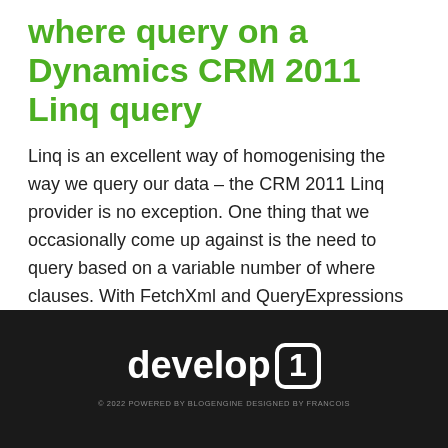where query on a Dynamics CRM 2011 Linq query
Linq is an excellent way of homogenising the way we query our data – the CRM 2011 Linq provider is no exception. One thing that we occasionally come up against is the need to query based on a variable number of where clauses. With FetchXml and QueryExpressions dynamic filters were straightfor... [More]
[Figure (logo): develop1 logo — white text on black background with '1' inside a rounded square border]
© 2022 POWERED BY BLOGENGINE DESIGNED BY FRANCOIS